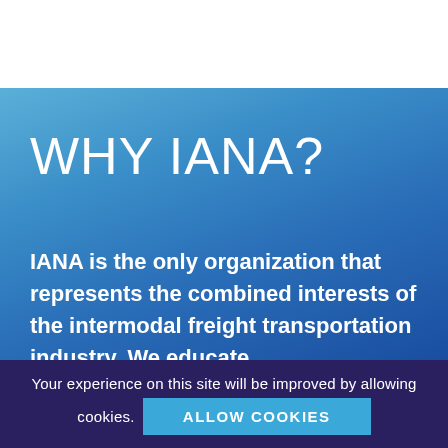WHY IANA?
IANA is the only organization that represents the combined interests of the intermodal freight transportation industry. We educate,
Your experience on this site will be improved by allowing cookies.
ALLOW COOKIES